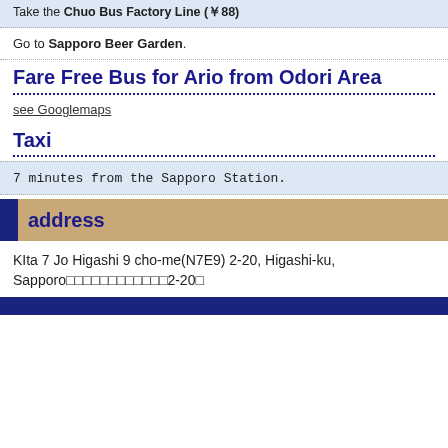Take the Chuo Bus Factory Line (￥88)
Go to Sapporo Beer Garden.
Fare Free Bus for Ario from Odori Area
see Googlemaps
Taxi
7 minutes from the Sapporo Station.
address
KIta 7 Jo Higashi 9 cho-me(N7E9) 2-20, Higashi-ku, Sapporo□□□□□□□□□□□□2-20□